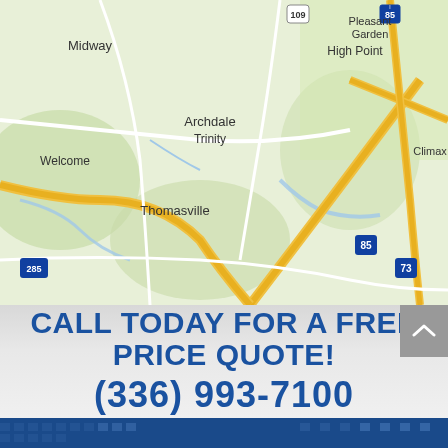[Figure (map): Google Maps view showing High Point area of North Carolina including cities: Midway, Welcome, Thomasville, High Point, Archdale, Trinity, Pleasant Garden, Climax. Highways 109, 85, 74, 73, 285 visible.]
CALL TODAY FOR A FREE PRICE QUOTE!
(336) 993-7100
[Figure (photo): Blue footer with building/grid imagery]